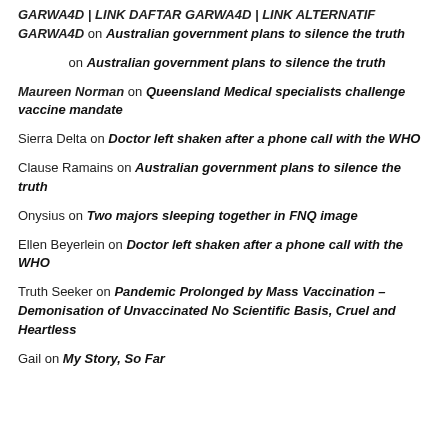GARWA4D | LINK DAFTAR GARWA4D | LINK ALTERNATIF GARWA4D on Australian government plans to silence the truth
on Australian government plans to silence the truth
Maureen Norman on Queensland Medical specialists challenge vaccine mandate
Sierra Delta on Doctor left shaken after a phone call with the WHO
Clause Ramains on Australian government plans to silence the truth
Onysius on Two majors sleeping together in FNQ image
Ellen Beyerlein on Doctor left shaken after a phone call with the WHO
Truth Seeker on Pandemic Prolonged by Mass Vaccination – Demonisation of Unvaccinated No Scientific Basis, Cruel and Heartless
Gail on My Story, So Far